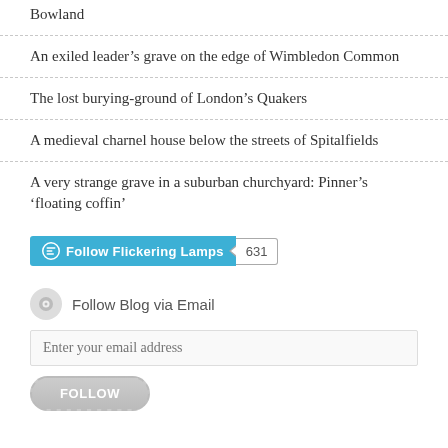Bowland
An exiled leader’s grave on the edge of Wimbledon Common
The lost burying-ground of London’s Quakers
A medieval charnel house below the streets of Spitalfields
A very strange grave in a suburban churchyard: Pinner’s ‘floating coffin’
[Figure (other): WordPress Follow Flickering Lamps button with follower count 631]
Follow Blog via Email
Enter your email address
[Figure (other): FOLLOW button (rounded, dashed border)]